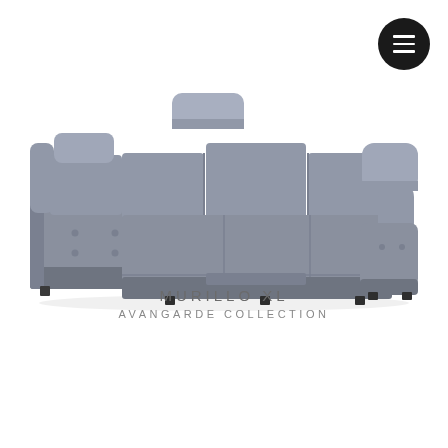[Figure (photo): Large gray modular U-shaped sectional sofa (Murillo XL) with adjustable headrests, tufted ottoman on left, chaise on right, photographed against a white background]
MURILLO XL
AVANGARDE COLLECTION